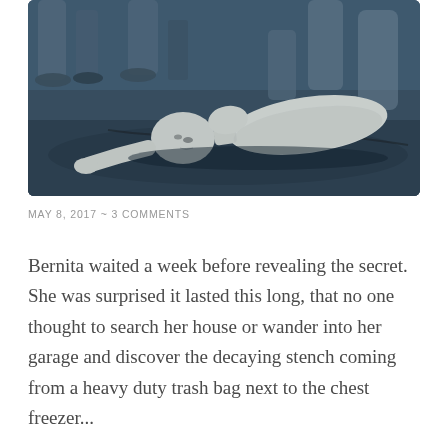[Figure (photo): A white mannequin lying face-down on dark asphalt pavement with people's legs and feet visible in the blurred background. The image has a cool blue-grey tone.]
MAY 8, 2017  ~  3 COMMENTS
Bernita waited a week before revealing the secret. She was surprised it lasted this long, that no one thought to search her house or wander into her garage and discover the decaying stench coming from a heavy duty trash bag next to the chest freezer...